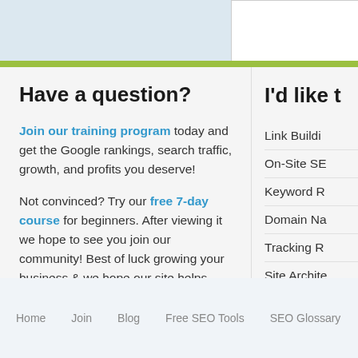[Figure (screenshot): Top strip showing partial website screenshot with blue background, white card with photo, and social media icons]
Have a question?
Join our training program today and get the Google rankings, search traffic, growth, and profits you deserve!
Not convinced? Try our free 7-day course for beginners. After viewing it we hope to see you join our community! Best of luck growing your business & we hope our site helps increase your rankings!
I'd like t
Link Buildi...
On-Site SE...
Keyword R...
Domain Na...
Tracking R...
Site Archite...
Website M...
Home    Join    Blog    Free SEO Tools    SEO Glossary